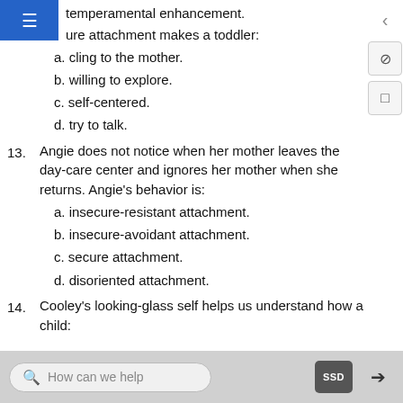temperamental enhancement.
ure attachment makes a toddler:
a. cling to the mother.
b. willing to explore.
c. self-centered.
d. try to talk.
13. Angie does not notice when her mother leaves the day-care center and ignores her mother when she returns. Angie's behavior is:
a. insecure-resistant attachment.
b. insecure-avoidant attachment.
c. secure attachment.
d. disoriented attachment.
14. Cooley's looking-glass self helps us understand how a child: